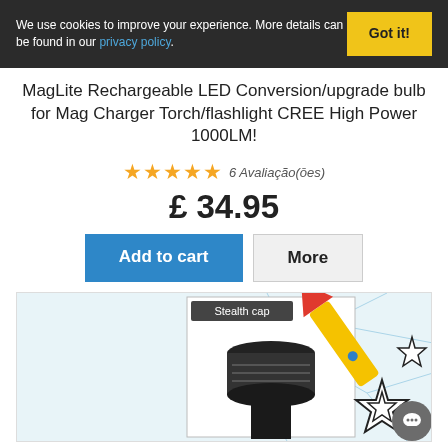We use cookies to improve your experience. More details can be found in our privacy policy.  Got it!
MagLite Rechargeable LED Conversion/upgrade bulb for Mag Charger Torch/flashlight CREE High Power 1000LM!
★★★★★ 6 Avaliação(ōes)
£ 34.95
Add to cart  More
[Figure (photo): Product image showing a stealth cap (black circular cap) on the left and an illustration of a yellow flashlight/torch emitting bright light with stylized cracked-glass burst effect on the right.]